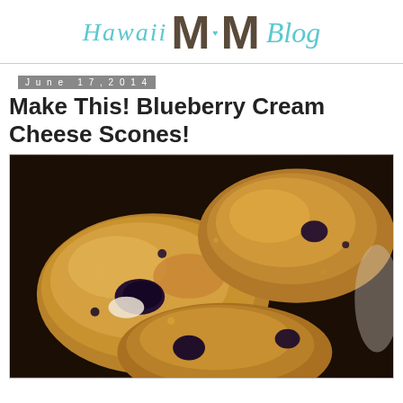Hawaii MOM Blog
June 17, 2014
Make This! Blueberry Cream Cheese Scones!
[Figure (photo): Close-up photo of blueberry cream cheese scones, golden brown with visible blueberries, on a dark background]